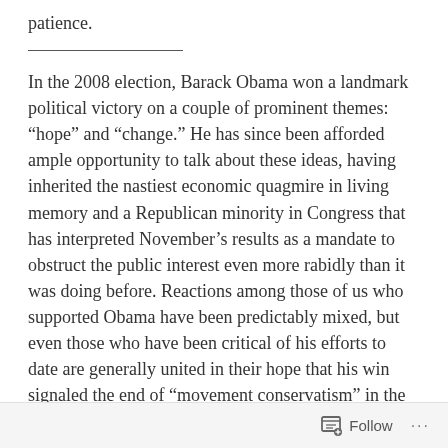patience.
In the 2008 election, Barack Obama won a landmark political victory on a couple of prominent themes: “hope” and “change.” He has since been afforded ample opportunity to talk about these ideas, having inherited the nastiest economic quagmire in living memory and a Republican minority in Congress that has interpreted November’s results as a mandate to obstruct the public interest even more rabidly than it was doing before. Reactions among those of us who supported Obama have been predictably mixed, but even those who have been critical of his efforts to date are generally united in their hope that his win signaled the end of “movement conservatism” in the US.
There are perhaps reasons for optimism. Politics in
Follow …